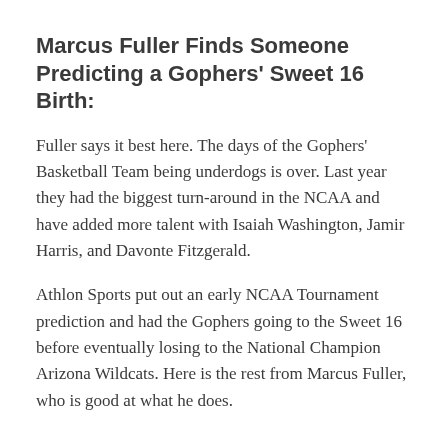Marcus Fuller Finds Someone Predicting a Gophers' Sweet 16 Birth:
Fuller says it best here. The days of the Gophers' Basketball Team being underdogs is over. Last year they had the biggest turn-around in the NCAA and have added more talent with Isaiah Washington, Jamir Harris, and Davonte Fitzgerald.
Athlon Sports put out an early NCAA Tournament prediction and had the Gophers going to the Sweet 16 before eventually losing to the National Champion Arizona Wildcats. Here is the rest from Marcus Fuller, who is good at what he does.